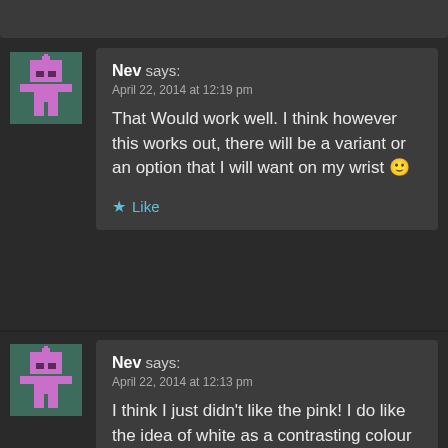Nev says: April 22, 2014 at 12:19 pm — That Would work well. I think however this works out, there will be a variant or an option that I will want on my wrist 🙂 — Like
Nev says: April 22, 2014 at 12:13 pm — I think I just didn't like the pink! I do like the idea of white as a contrasting colour and